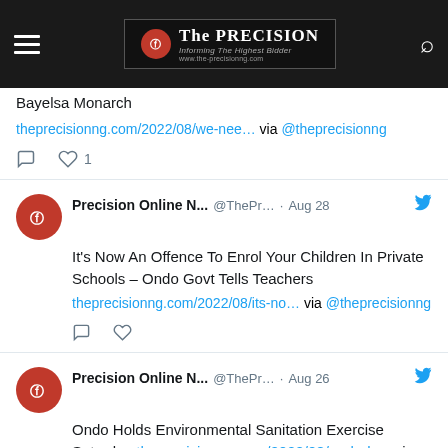The Precision — Navigation bar
Bayelsa Monarch theprecisionng.com/2022/08/we-nee… via @theprecisionng
Precision Online N... @ThePr... · Aug 28 — It's Now An Offence To Enrol Your Children In Private Schools – Ondo Govt Tells Teachers theprecisionng.com/2022/08/its-no… via @theprecisionng
Precision Online N... @ThePr... · Aug 26 — Ondo Holds Environmental Sanitation Exercise Saturday theprecisionng.com/2022/08/ondo-h… via @theprecisionng